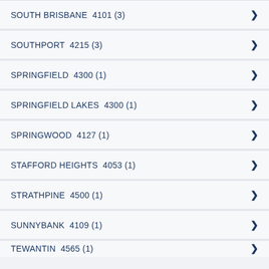SOUTH BRISBANE  4101 (3)
SOUTHPORT  4215 (3)
SPRINGFIELD  4300 (1)
SPRINGFIELD LAKES  4300 (1)
SPRINGWOOD  4127 (1)
STAFFORD HEIGHTS  4053 (1)
STRATHPINE  4500 (1)
SUNNYBANK  4109 (1)
TEWANTIN  4565 (1)